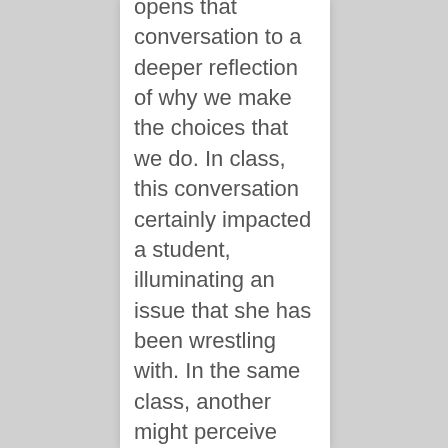opens that conversation to a deeper reflection of why we make the choices that we do. In class, this conversation certainly impacted a student, illuminating an issue that she has been wrestling with. In the same class, another might perceive this conversation differently. That is the beauty of having challenging conversations. While you may not use twitter or Facebook for social justice issues, you are using your network (as Katia suggested), such as this post, to engage in deeper conversations. You do not shy away from expressing opinion in a